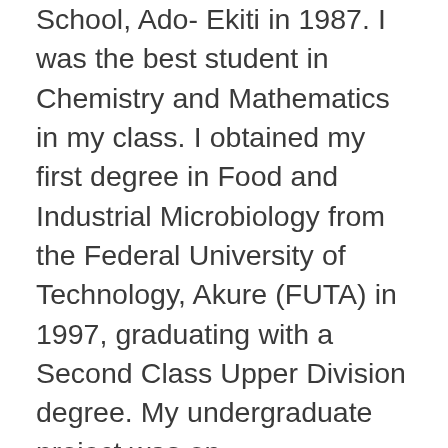School, Ado- Ekiti in 1987. I was the best student in Chemistry and Mathematics in my class. I obtained my first degree in Food and Industrial Microbiology from the Federal University of Technology, Akure (FUTA) in 1997, graduating with a Second Class Upper Division degree. My undergraduate project was on Biodeterioration of chicken eggs- local, poultry and freshly sold eggs. My Master's degree was in Microbiology (Environmental Microbiology) from the University of Ibadan in 2003. At this level, I